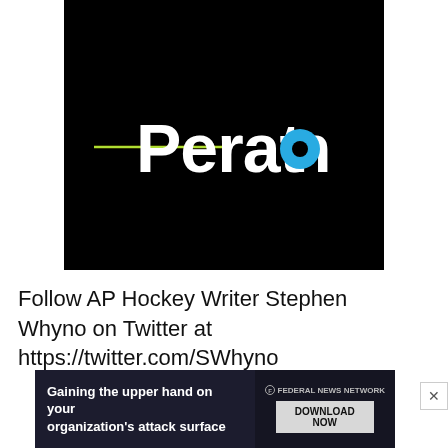[Figure (logo): Peraton company logo on black background. White bold text 'Peraton' with a teal/blue circle dot on the 'o', and a horizontal green-yellow line element extending to the left.]
Follow AP Hockey Writer Stephen Whyno on Twitter at https://twitter.com/SWhyno
[Figure (screenshot): Advertisement banner for Federal News Network: 'Gaining the upper hand on your organization's attack surface' with a DOWNLOAD NOW button.]